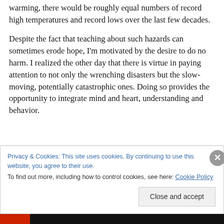This shows that climate is shifting for if the planet was not warming, there would be roughly equal numbers of record high temperatures and record lows over the last few decades.
Despite the fact that teaching about such hazards can sometimes erode hope, I'm motivated by the desire to do no harm. I realized the other day that there is virtue in paying attention to not only the wrenching disasters but the slow-moving, potentially catastrophic ones. Doing so provides the opportunity to integrate mind and heart, understanding and behavior.
Privacy & Cookies: This site uses cookies. By continuing to use this website, you agree to their use. To find out more, including how to control cookies, see here: Cookie Policy
Close and accept